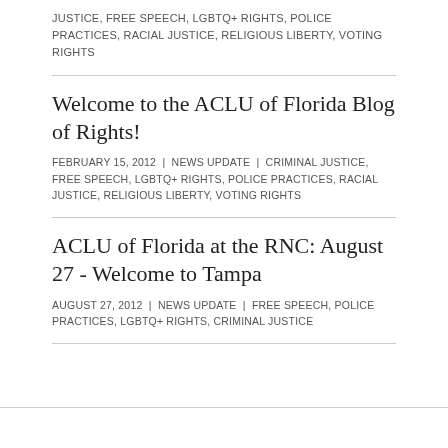JUSTICE, FREE SPEECH, LGBTQ+ RIGHTS, POLICE PRACTICES, RACIAL JUSTICE, RELIGIOUS LIBERTY, VOTING RIGHTS
Welcome to the ACLU of Florida Blog of Rights!
FEBRUARY 15, 2012  |  NEWS UPDATE  |  CRIMINAL JUSTICE, FREE SPEECH, LGBTQ+ RIGHTS, POLICE PRACTICES, RACIAL JUSTICE, RELIGIOUS LIBERTY, VOTING RIGHTS
ACLU of Florida at the RNC: August 27 - Welcome to Tampa
AUGUST 27, 2012  |  NEWS UPDATE  |  FREE SPEECH, POLICE PRACTICES, LGBTQ+ RIGHTS, CRIMINAL JUSTICE